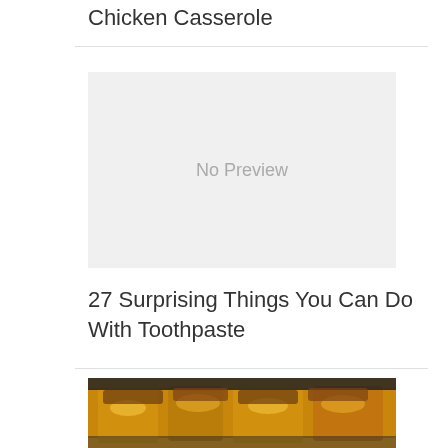Chicken Casserole
[Figure (photo): No Preview placeholder image with light gray background]
27 Surprising Things You Can Do With Toothpaste
[Figure (photo): Photo of a baked casserole dish with melted cheese and browned topping, partially visible at bottom of page]